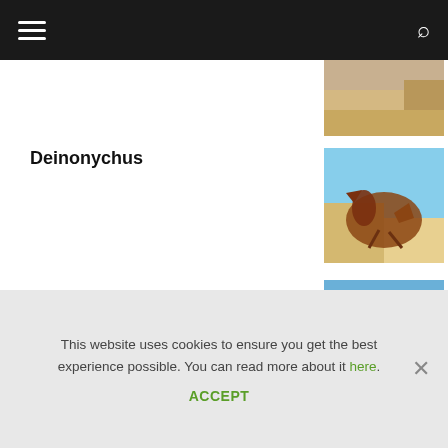Navigation bar with hamburger menu and search icon
[Figure (photo): Partial dinosaur image visible at top right, sandy/desert background]
Deinonychus
[Figure (photo): Illustration of Deinonychus dinosaur running on sand dunes against blue sky]
Argentinosaurus
[Figure (photo): Illustration of Argentinosaurus herd of large sauropods walking in shallow water with blue sky background]
Popular Prehistoric Animals
This website uses cookies to ensure you get the best experience possible. You can read more about it here.
ACCEPT